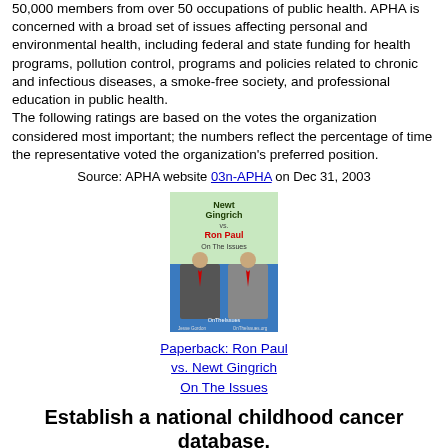50,000 members from over 50 occupations of public health. APHA is concerned with a broad set of issues affecting personal and environmental health, including federal and state funding for health programs, pollution control, programs and policies related to chronic and infectious diseases, a smoke-free society, and professional education in public health.
The following ratings are based on the votes the organization considered most important; the numbers reflect the percentage of time the representative voted the organization's preferred position.
Source: APHA website 03n-APHA on Dec 31, 2003
[Figure (photo): Book cover: Newt Gingrich vs. Ron Paul On The Issues — two men in suits standing side by side]
Paperback: Ron Paul vs. Newt Gingrich On The Issues
Establish a national childhood cancer database.
Meeks co-sponsored establishing a national childhood cancer database
Conquer Childhood Cancer Act of 2007 - A bill to advance medical research and treatments into pediatric cancers, ensure patients and families have access to the